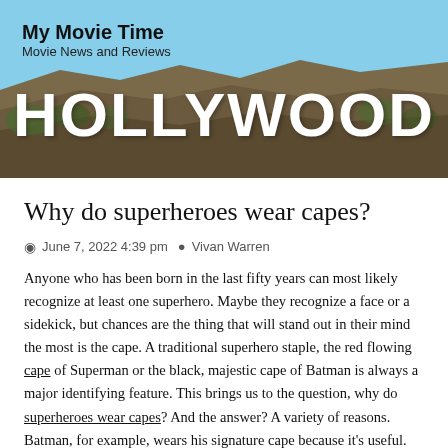[Figure (photo): Hollywood sign on hillside with blue sky background, with 'My Movie Time' and 'Movie News and Reviews' text overlay in upper left]
Why do superheroes wear capes?
June 7, 2022 4:39 pm  Vivan Warren
Anyone who has been born in the last fifty years can most likely recognize at least one superhero. Maybe they recognize a face or a sidekick, but chances are the thing that will stand out in their mind the most is the cape. A traditional superhero staple, the red flowing cape of Superman or the black, majestic cape of Batman is always a major identifying feature. This brings us to the question, why do superheroes wear capes? And the answer? A variety of reasons. Batman, for example, wears his signature cape because it's useful. The black color